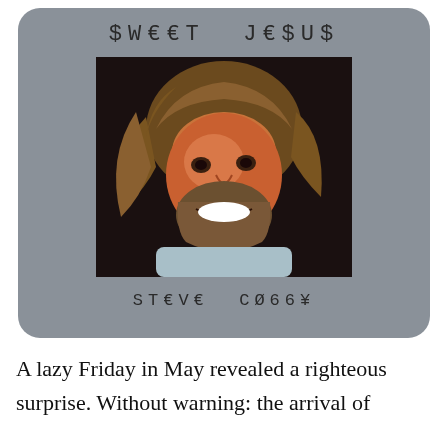$W€€T J€$U$
[Figure (photo): A man with long wavy brown hair, beard, tanned skin, and a bright white smile wearing a light blue shirt, against a dark background. This is styled as an album cover.]
ST€V€ CØ66¥
A lazy Friday in May revealed a righteous surprise. Without warning: the arrival of